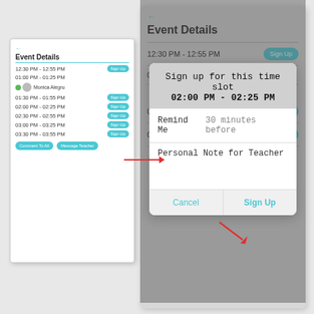[Figure (screenshot): Left small phone screenshot showing Event Details with time slots 12:30 PM - 12:55 PM, 01:00 PM - 01:25 PM (with Monica Alegru user), 01:30 PM - 01:55 PM, 02:00 PM - 02:25 PM (highlighted with red arrow), 02:30 PM - 02:55 PM, 03:00 PM - 03:25 PM, 03:30 PM - 03:55 PM. Bottom buttons: Comment To All, Message Teacher.]
[Figure (screenshot): Right large phone screenshot showing Event Details page with time slots and a modal dialog: 'Sign up for this time slot 02:00 PM - 02:25 PM' with Remind Me '30 minutes before', Personal Note for Teacher field, Cancel and Sign Up buttons. Red arrow pointing to Sign Up button.]